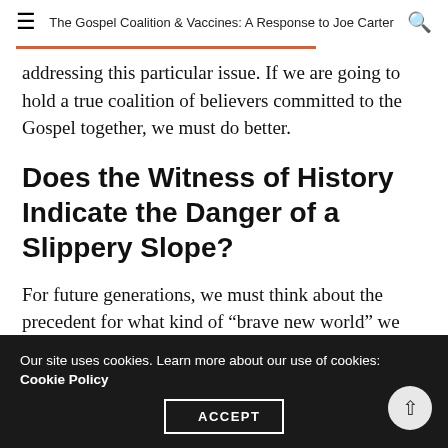The Gospel Coalition & Vaccines: A Response to Joe Carter
addressing this particular issue. If we are going to hold a true coalition of believers committed to the Gospel together, we must do better.
Does the Witness of History Indicate the Danger of a Slippery Slope?
For future generations, we must think about the precedent for what kind of “brave new world” we
Our site uses cookies. Learn more about our use of cookies: Cookie Policy
ACCEPT